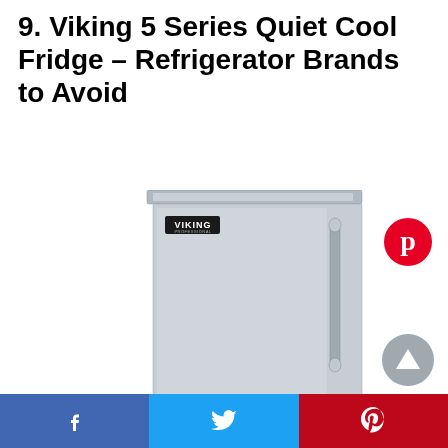9. Viking 5 Series Quiet Cool Fridge – Refrigerator Brands to Avoid
[Figure (photo): Viking 5 Series stainless steel refrigerator with a vertical bar handle on the right side and Viking logo badge on the upper left of the door, shown against a white background]
[Figure (logo): Pinterest circle icon (red background with white P logo) in upper right]
[Figure (other): Gray circle with upward triangle arrow (scroll-to-top button) in lower right]
Facebook share | Twitter share | Pinterest share